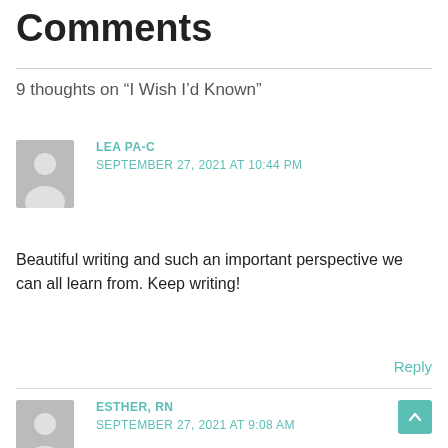Comments
9 thoughts on “I Wish I’d Known”
LEA PA-C
SEPTEMBER 27, 2021 AT 10:44 PM
Beautiful writing and such an important perspective we can all learn from. Keep writing!
Reply
ESTHER, RN
SEPTEMBER 27, 2021 AT 9:08 AM